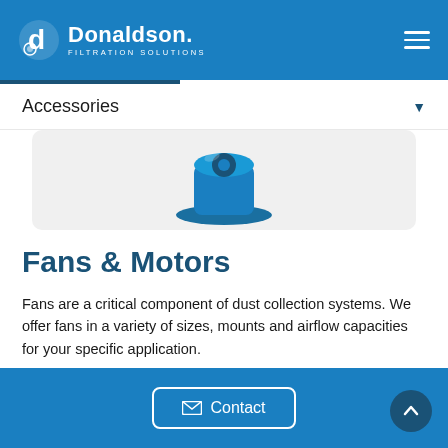Donaldson Filtration Solutions
Accessories
[Figure (photo): Blue industrial fan/motor component shown from above on light gray background]
Fans & Motors
Fans are a critical component of dust collection systems. We offer fans in a variety of sizes, mounts and airflow capacities for your specific application.
[Figure (photo): Partial view of blue industrial component on light gray background]
Contact